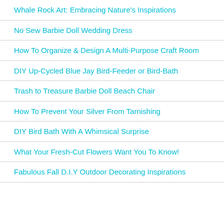Whale Rock Art: Embracing Nature's Inspirations
No Sew Barbie Doll Wedding Dress
How To Organize & Design A Multi-Purpose Craft Room
DIY Up-Cycled Blue Jay Bird-Feeder or Bird-Bath
Trash to Treasure Barbie Doll Beach Chair
How To Prevent Your Silver From Tarnishing
DIY Bird Bath With A Whimsical Surprise
What Your Fresh-Cut Flowers Want You To Know!
Fabulous Fall D.I.Y Outdoor Decorating Inspirations